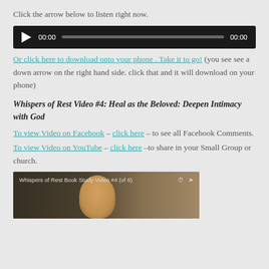Click the arrow below to listen right now.
[Figure (other): Audio player with play button, time display 00:00, progress bar, and end time 00:00 on dark background]
Or click here to download onto your phone . Take it to go! (you see see a down arrow on the right hand side. click that and it will download on your phone)
Whispers of Rest Video #4: Heal as the Beloved: Deepen Intimacy with God
To view Video on Facebook – click here – to see all Facebook Comments.
To view Video on YouTube – click here –to share in your Small Group or church.
[Figure (screenshot): Video thumbnail showing Whispers of Rest Book Study Video #4 (of 6) with a woman smiling outdoors]